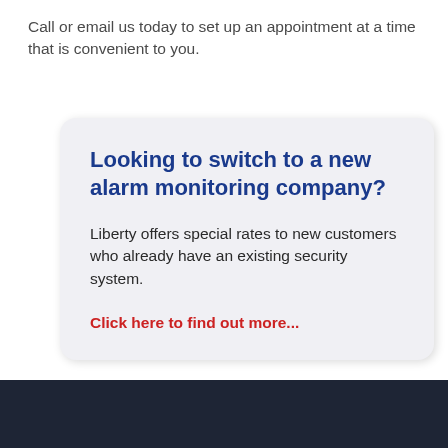Call or email us today to set up an appointment at a time that is convenient to you.
Looking to switch to a new alarm monitoring company?
Liberty offers special rates to new customers who already have an existing security system.
Click here to find out more...